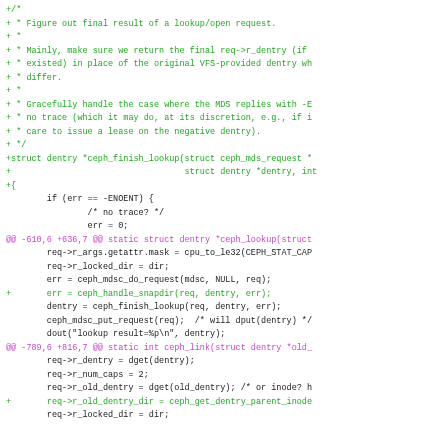[Figure (screenshot): Code diff showing addition of ceph_finish_lookup function and related changes in a C source file. Green lines are additions (+), magenta lines are diff hunk headers (@@). The code involves ceph filesystem lookup/open request handling.]